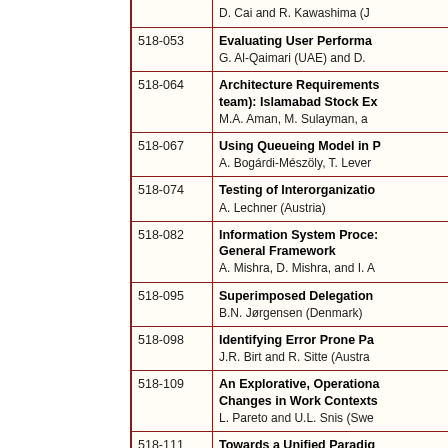| Code | Title / Authors |
| --- | --- |
|  | D. Cai and R. Kawashima (J... |
| 518-053 | Evaluating User Performa...
G. Al-Qaimari (UAE) and D.... |
| 518-064 | Architecture Requirements...
team): Islamabad Stock Ex...
M.A. Aman, M. Sulayman, a... |
| 518-067 | Using Queueing Model in P...
A. Bogárdi-Mészöly, T. Lever... |
| 518-074 | Testing of Interorganizatio...
A. Lechner (Austria) |
| 518-082 | Information System Process...
General Framework
A. Mishra, D. Mishra, and I. A... |
| 518-095 | Superimposed Delegation...
B.N. Jørgensen (Denmark) |
| 518-098 | Identifying Error Prone Pa...
J.R. Birt and R. Sitte (Austra... |
| 518-109 | An Explorative, Operationa...
Changes in Work Contexts...
L. Pareto and U.L. Snis (Swe... |
| 518-111 | Towards a Unified Paradig...
Models
L. Alawneh, M. Debbabi, F. H... |
| 518-112 | Analysis of Software Proce...
L. Inchaiwong and A.S.M. Sa... |
| 518-802 | Building a Multi-Platform P...
K.S. Hwang and K.H. Lee (K... |